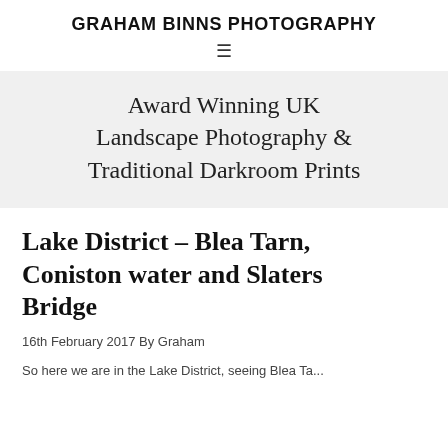GRAHAM BINNS PHOTOGRAPHY
Award Winning UK Landscape Photography & Traditional Darkroom Prints
Lake District – Blea Tarn, Coniston water and Slaters Bridge
16th February 2017 By Graham
So here we are in the Lake District, seeing Blea Ta...